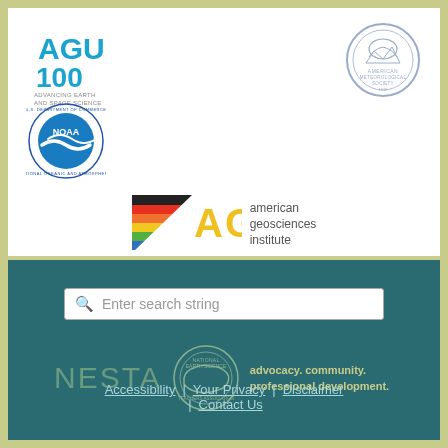[Figure (logo): AGU 100 Advancing Earth and Space Science logo]
[Figure (logo): American Meteorological Society circular seal logo]
[Figure (logo): NOAA National Oceanic and Atmospheric Administration circular logo]
[Figure (logo): AGI American Geosciences Institute logo with colorful stripes]
[Figure (screenshot): Search bar with placeholder text 'Enter search string']
[Figure (logo): NESTA National Earth Science Teachers Association logo with tagline 'advocacy. community. professional development.']
Accessibility | Your Privacy | Disclaimer | Contact Us